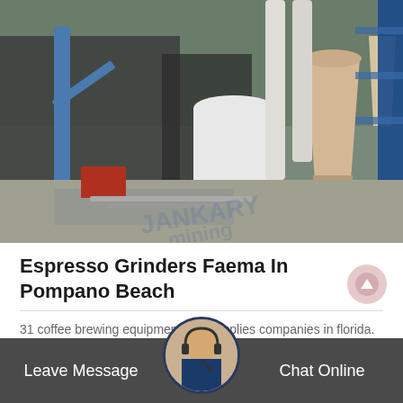[Figure (photo): Industrial machinery/grinding equipment at a construction or manufacturing site with silos, tanks, metal framework and scaffolding]
Espresso Grinders Faema In Pompano Beach
31 coffee brewing equipment and supplies companies in florida. search or browse our list of coffee brewing equipment and supplies companies in florida by category or location. pompa…
See Details
Leave Message   Chat Online